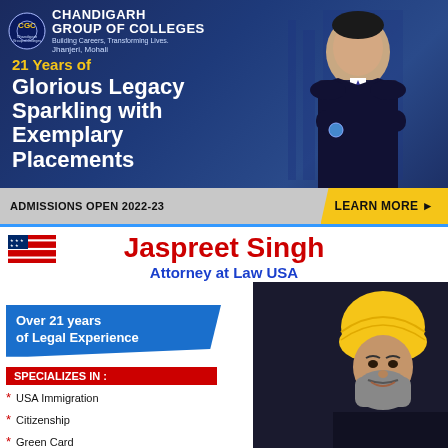[Figure (infographic): Chandigarh Group of Colleges advertisement. Dark blue background with a young woman in business attire. Text: 21 Years of Glorious Legacy Sparkling with Exemplary Placements. Admissions Open 2022-23. Learn More button.]
[Figure (infographic): Jaspreet Singh Attorney at Law USA advertisement. American flag icon, red and blue text, photo of Sikh man with yellow turban. Specializes in USA Immigration, Citizenship, Green Card, Deportation Defense, Political Asylum, Detention Cases. Over 21 years of Legal Experience.]